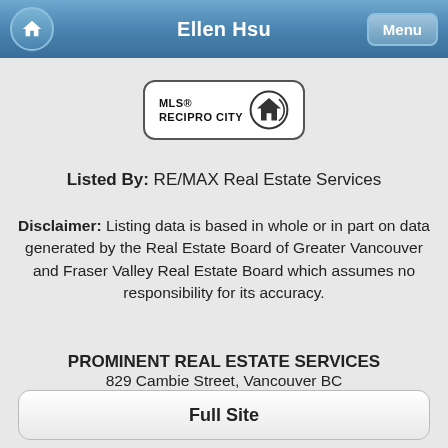Ellen Hsu
[Figure (logo): MLS Reciprocity logo — rounded rectangle border containing text 'MLS® RECIPROCITY' and a circular house icon]
Listed By: RE/MAX Real Estate Services
Disclaimer: Listing data is based in whole or in part on data generated by the Real Estate Board of Greater Vancouver and Fraser Valley Real Estate Board which assumes no responsibility for its accuracy.
PROMINENT REAL ESTATE SERVICES
829 Cambie Street, Vancouver BC
778-317-5113
Full Site